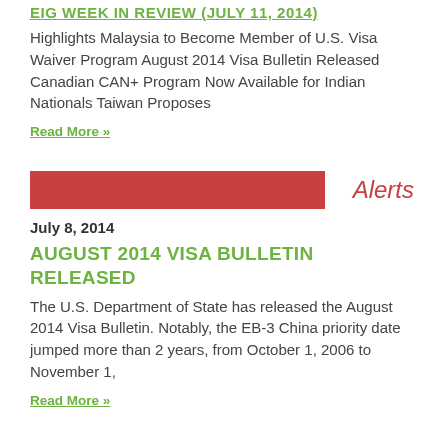EIG WEEK IN REVIEW (JULY 11, 2014)
Highlights Malaysia to Become Member of U.S. Visa Waiver Program August 2014 Visa Bulletin Released Canadian CAN+ Program Now Available for Indian Nationals Taiwan Proposes
Read More »
Alerts
July 8, 2014
AUGUST 2014 VISA BULLETIN RELEASED
The U.S. Department of State has released the August 2014 Visa Bulletin.  Notably, the EB-3 China priority date jumped more than 2 years, from October 1, 2006 to November 1,
Read More »
Alerts